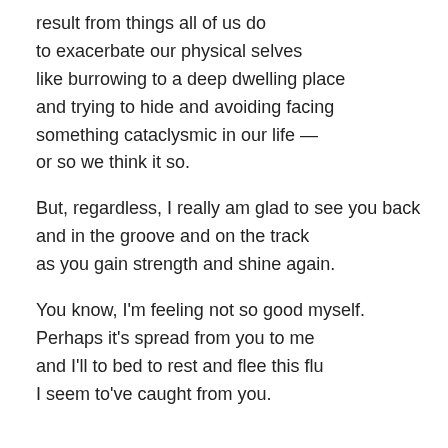result from things all of us do
to exacerbate our physical selves
like burrowing to a deep dwelling place
and trying to hide and avoiding facing
something cataclysmic in our life —
or so we think it so.

But, regardless, I really am glad to see you back
and in the groove and on the track
as you gain strength and shine again.

You know, I'm feeling not so good myself.
Perhaps it's spread from you to me
and I'll to bed to rest and flee this flu
I seem to've caught from you.